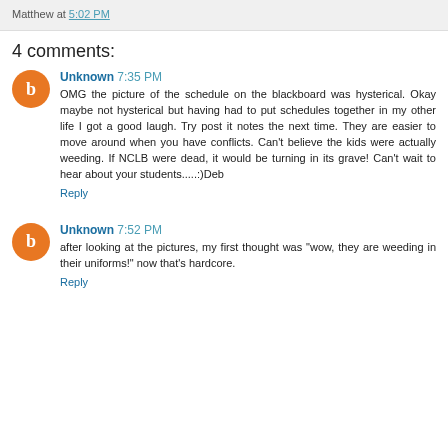Matthew at 5:02 PM
4 comments:
Unknown 7:35 PM
OMG the picture of the schedule on the blackboard was hysterical. Okay maybe not hysterical but having had to put schedules together in my other life I got a good laugh. Try post it notes the next time. They are easier to move around when you have conflicts. Can't believe the kids were actually weeding. If NCLB were dead, it would be turning in its grave! Can't wait to hear about your students.....:)Deb
Reply
Unknown 7:52 PM
after looking at the pictures, my first thought was "wow, they are weeding in their uniforms!" now that's hardcore.
Reply